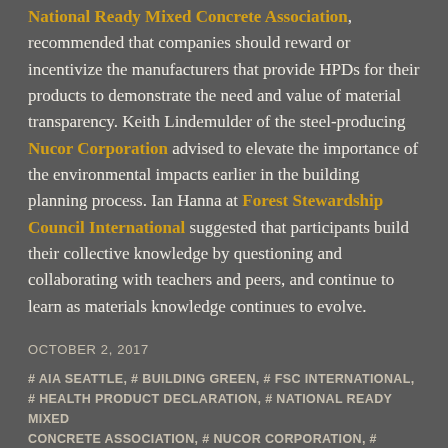National Ready Mixed Concrete Association, recommended that companies should reward or incentivize the manufacturers that provide HPDs for their products to demonstrate the need and value of material transparency. Keith Lindemulder of the steel-producing Nucor Corporation advised to elevate the importance of the environmental impacts earlier in the building planning process. Ian Hanna at Forest Stewardship Council International suggested that participants build their collective knowledge by questioning and collaborating with teachers and peers, and continue to learn as materials knowledge continues to evolve.
OCTOBER 2, 2017
# AIA SEATTLE, # BUILDING GREEN, # FSC INTERNATIONAL, # HEALTH PRODUCT DECLARATION, # NATIONAL READY MIXED CONCRETE ASSOCIATION, # NUCOR CORPORATION, # PACIFICA